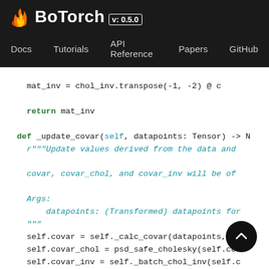BoTorch v: 0.5.0
Docs  Tutorials  API Reference  Papers  GitHub
[Figure (screenshot): BoTorch documentation screenshot showing Python source code for a Bayesian optimization model class.]
mat_inv = chol_inv.transpose(-1, -2) @ c
return mat_inv
def _update_covar(self, datapoints: Tensor) -> N
r"""Update values derived from the data and
covar, covar_chol, and covar_inv will be of
Args:
datapoints: (Transformed) datapoints for
"""
self.covar = self._calc_covar(datapoints, da
self.covar_chol = psd_safe_cholesky(self.cov
self.covar_inv = self._batch_chol_inv(self.c
def _prior_mean(self, X: Tensor) -> Uni  sor
r"""Return point prediction using pr  only